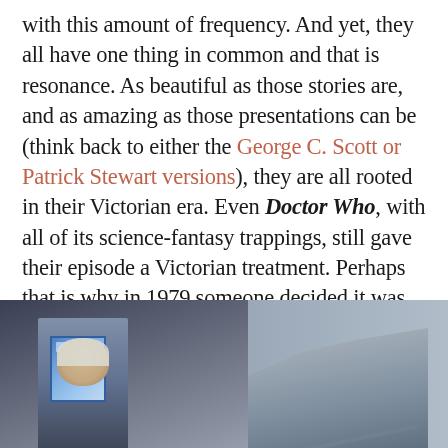with this amount of frequency. And yet, they all have one thing in common and that is resonance. As beautiful as those stories are, and as amazing as those presentations can be (think back to either the George C. Scott or Patrick Stewart versions), they are all rooted in their Victorian era. Even Doctor Who, with all of its science-fantasy trappings, still gave their episode a Victorian treatment. Perhaps that is why in 1979 someone decided it was time to give this holiday fantasy a different coat of paint.
[Figure (photo): A still from what appears to be a television production, showing an elderly bald man standing near a staircase in a dimly lit interior scene, with a glowing window or doorway visible on the left.]